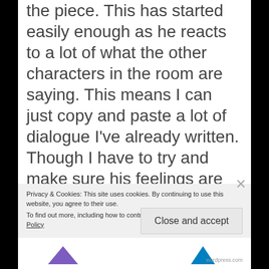the piece. This has started easily enough as he reacts to a lot of what the other characters in the room are saying. This means I can just copy and paste a lot of dialogue I've already written. Though I have to try and make sure his feelings are getting across as well using the voice in his head (not a demented one but the one we all have).
All this is challenging stuff, which I have
Privacy & Cookies: This site uses cookies. By continuing to use this website, you agree to their use.
To find out more, including how to control cookies, see here: Cookie Policy